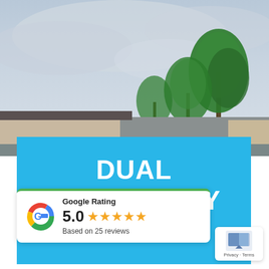[Figure (photo): Outdoor photo of a residential house with palm trees and a cloudy sky in the background]
DUAL OCCUPANCY ES
[Figure (infographic): Google Rating card showing 5.0 stars based on 25 reviews with the Google G logo and a green top border]
[Figure (infographic): Google Maps privacy/terms icon box in the bottom right corner with a small map icon and 'Privacy · Terms' text]